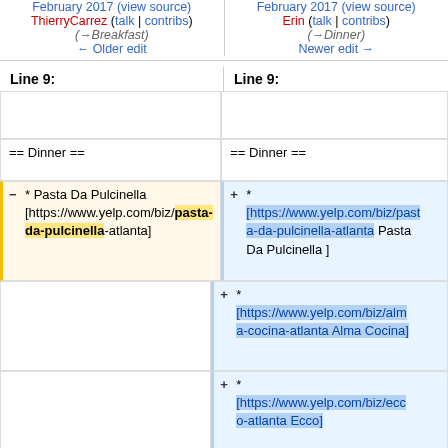February 2017 (view source) | ThierryCarrez (talk | contribs) | (→Breakfast) | ← Older edit || February 2017 (view source) | Erin (talk | contribs) | (→Dinner) | Newer edit →
Line 9: (left) | Line 9: (right)
| (empty) | (empty) |
| == Dinner == | == Dinner == |
| * Pasta Da Pulcinella
[https://www.yelp.com/biz/pasta-da-pulcinella-atlanta] | *
[https://www.yelp.com/biz/pasta-da-pulcinella-atlanta Pasta Da Pulcinella ] |
|  | *
[https://www.yelp.com/biz/alma-cocina-atlanta Alma Cocina] |
|  | *
[https://www.yelp.com/biz/ecco-atlanta Ecco] |
|  | *
[https://www.yelp.com/biz/bartaco-west-midtown-atlanta |